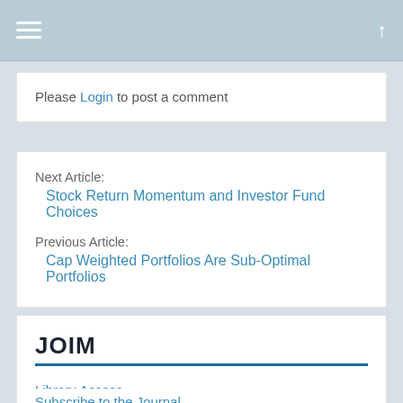≡  ↑
Please Login to post a comment
Next Article:
Stock Return Momentum and Investor Fund Choices
Previous Article:
Cap Weighted Portfolios Are Sub-Optimal Portfolios
JOIM
Library Access
Subscribe to the Journal
Submit a Paper
Harry M. Markowitz Award
Editorial Board
Upcoming Conferences